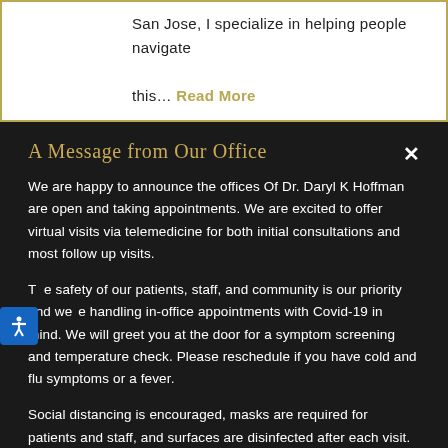San Jose, I specialize in helping people navigate this… Read More
A Message from Our Office
We are happy to announce the offices Of Dr. Daryl K Hoffman are open and taking appointments. We are excited to offer virtual visits via telemedicine for both initial consultations and most follow up visits.
The safety of our patients, staff, and community is our priority and we are handling in-office appointments with Covid-19 in mind. We will greet you at the door for a symptom screening and temperature check. Please reschedule if you have cold and flu symptoms or a fever.
Social distancing is encouraged, masks are required for patients and staff, and surfaces are disinfected after each visit. We look forward to serving you!
REQUEST A CONSULTATION